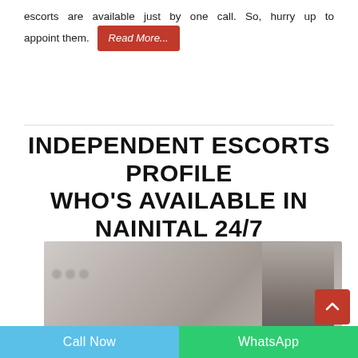escorts are available just by one call. So, hurry up to appoint them. Read More...
INDEPENDENT ESCORTS PROFILE WHO'S AVAILABLE IN NAINITAL 24/7
[Figure (photo): Photo of a young woman with long brown hair, blurred background, partial view]
Call Now | WhatsApp